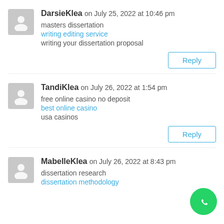DarsieKlea on July 25, 2022 at 10:46 pm
masters dissertation
writing editing service
writing your dissertation proposal
TandiKlea on July 26, 2022 at 1:54 pm
free online casino no deposit
best online casino
usa casinos
MabelleKlea on July 26, 2022 at 8:43 pm
dissertation research
dissertation methodology